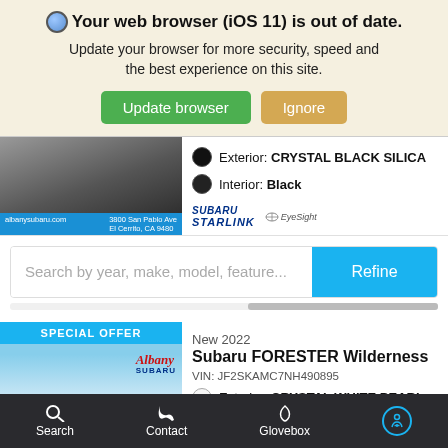Your web browser (iOS 11) is out of date. Update your browser for more security, speed and the best experience on this site.
Update browser | Ignore
[Figure (screenshot): Partial car listing showing a dark SUV with Exterior: CRYSTAL BLACK SILICA, Interior: Black, Subaru STARLINK and EyeSight logos, albanysubaru.com dealer bar]
Search by year, make, model, feature...
Refine
[Figure (photo): Car listing card with SPECIAL OFFER banner showing white Subaru Forester Wilderness, Albany Subaru branding]
New 2022
Subaru FORESTER Wilderness
VIN: JF2SKAMC7NH490895
Exterior: CRYSTAL WHITE PEARL
Interior: Gray
Search | Contact | Glovebox | Accessibility